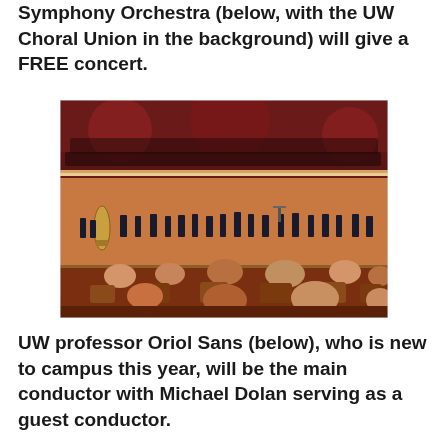Symphony Orchestra (below, with the UW Choral Union in the background) will give a FREE concert.
[Figure (photo): A symphony orchestra performing on stage in a concert hall with warm wood-toned walls. A large choir is visible in tiered risers at the back. The audience is seen from behind in the foreground, seated in brown upholstered chairs.]
UW professor Oriol Sans (below), who is new to campus this year, will be the main conductor with Michael Dolan serving as a guest conductor.